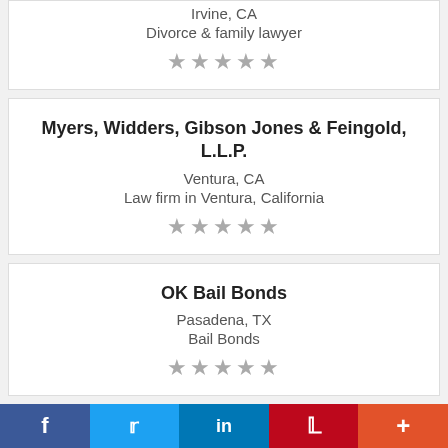Irvine, CA
Divorce & family lawyer
★★★★★
Myers, Widders, Gibson Jones & Feingold, L.L.P.
Ventura, CA
Law firm in Ventura, California
★★★★★
OK Bail Bonds
Pasadena, TX
Bail Bonds
★★★★★
(partial card below — cut off)
f  Twitter  in  P  +